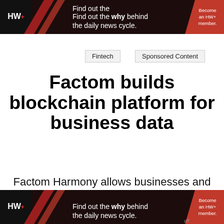[Figure (other): HW+ promotional banner at top: dark background with HW+ logo, text 'Find out the why behind the daily news cycle.' and red 'Become an HW+ member.' button]
Fintech
Sponsored Content
Factom builds blockchain platform for business data
Factom Harmony allows businesses and software vendors to quickly add blockchain capabilities using simple API calls
[Figure (other): HW+ sticky bottom banner: dark background with HW+ logo, text 'Find out the why behind the daily news cycle.' and red 'Become an HW+ member.' button]